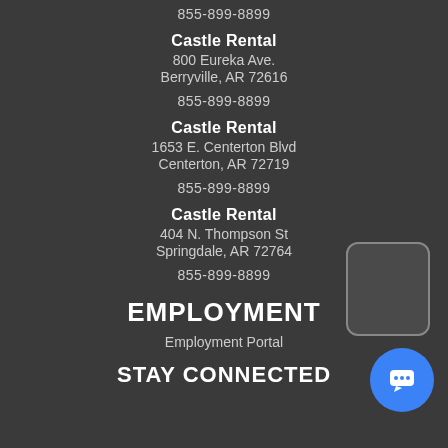855-899-8899
Castle Rental
800 Eureka Ave.
Berryville, AR 72616
855-899-8899
Castle Rental
1653 E. Centerton Blvd
Centerton, AR 72719
855-899-8899
Castle Rental
404 N. Thompson St
Springdale, AR 72764
855-899-8899
EMPLOYMENT
Employment Portal
STAY CONNECTED